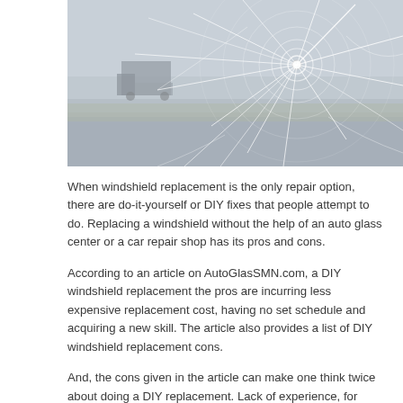[Figure (photo): A cracked windshield with spiderweb fracture pattern radiating from a central impact point; a blurred truck visible through the glass in the background on a road.]
When windshield replacement is the only repair option, there are do-it-yourself or DIY fixes that people attempt to do. Replacing a windshield without the help of an auto glass center or a car repair shop has its pros and cons.
According to an article on AutoGlasSMN.com, a DIY windshield replacement the pros are incurring less expensive replacement cost, having no set schedule and acquiring a new skill. The article also provides a list of DIY windshield replacement cons.
And, the cons given in the article can make one think twice about doing a DIY replacement. Lack of experience, for example, may only result in an overwhelming experience. There are times that